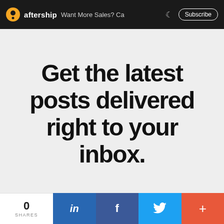aftership   Want More Sales? Ca   Subscribe
Get the latest posts delivered right to your inbox.
Your email address
0 SHARES  in  f  Twitter  +